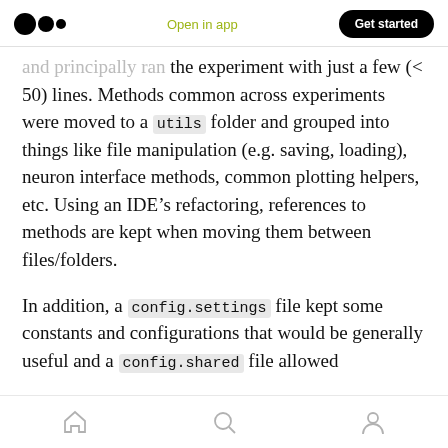Medium logo | Open in app | Get started
and principally ran the experiment with just a few (< 50) lines. Methods common across experiments were moved to a utils folder and grouped into things like file manipulation (e.g. saving, loading), neuron interface methods, common plotting helpers, etc. Using an IDE’s refactoring, references to methods are kept when moving them between files/folders.
In addition, a config.settings file kept some constants and configurations that would be generally useful and a config.shared file allowed